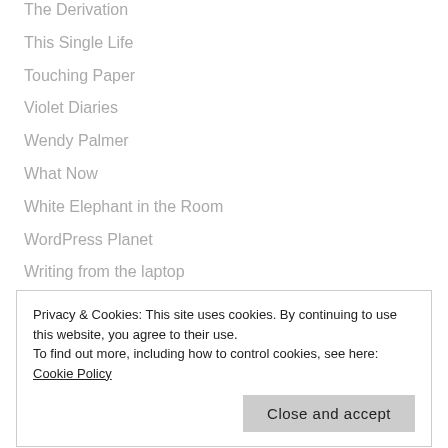The Derivation
This Single Life
Touching Paper
Violet Diaries
Wendy Palmer
What Now
White Elephant in the Room
WordPress Planet
Writing from the laptop
Privacy & Cookies: This site uses cookies. By continuing to use this website, you agree to their use.
To find out more, including how to control cookies, see here: Cookie Policy
Close and accept
June 2019